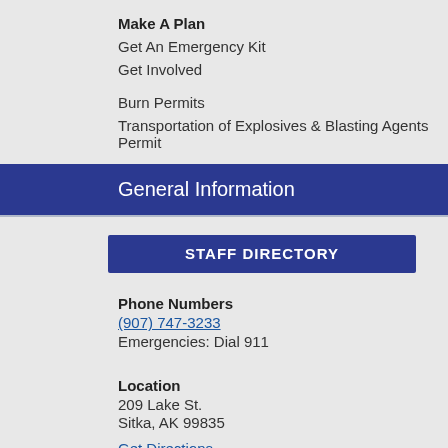Make A Plan
Get An Emergency Kit
Get Involved
Burn Permits
Transportation of Explosives & Blasting Agents Permit
General Information
STAFF DIRECTORY
Phone Numbers
(907) 747-3233
Emergencies: Dial 911
Location
209 Lake St.
Sitka, AK 99835
Get Directions